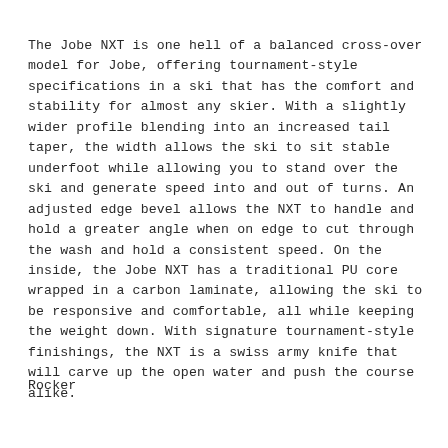The Jobe NXT is one hell of a balanced cross-over model for Jobe, offering tournament-style specifications in a ski that has the comfort and stability for almost any skier. With a slightly wider profile blending into an increased tail taper, the width allows the ski to sit stable underfoot while allowing you to stand over the ski and generate speed into and out of turns. An adjusted edge bevel allows the NXT to handle and hold a greater angle when on edge to cut through the wash and hold a consistent speed. On the inside, the Jobe NXT has a traditional PU core wrapped in a carbon laminate, allowing the ski to be responsive and comfortable, all while keeping the weight down. With signature tournament-style finishings, the NXT is a swiss army knife that will carve up the open water and push the course alike.
Rocker